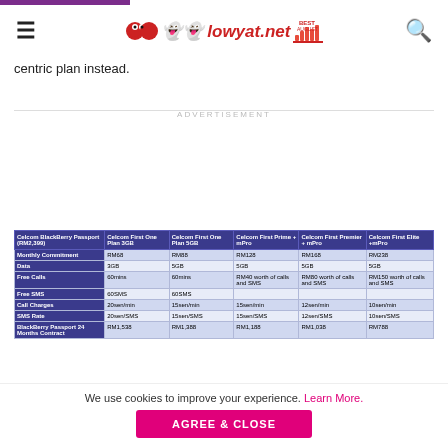lowyat.net
centric plan instead.
| Celcom BlackBerry Passport (RM2,399) | Celcom First One Plan 3GB | Celcom First One Plan 5GB | Celcom First Prime + mPro | Celcom First Premier + mPro | Celcom First Elite + mPro |
| --- | --- | --- | --- | --- | --- |
| Monthly Commitment | RM68 | RM88 | RM128 | RM168 | RM238 |
| Data | 3GB | 5GB | 5GB | 5GB | 5GB |
| Free Calls | 60mins | 60mins | RM40 worth of calls and SMS | RM80 worth of calls and SMS | RM150 worth of calls and SMS |
| Free SMS | 60SMS | 60SMS |  |  |  |
| Call Charges | 20sen/min | 15sen/min | 15sen/min | 12sen/min | 10sen/min |
| SMS Rate | 20sen/SMS | 15sen/SMS | 15sen/SMS | 12sen/SMS | 10sen/SMS |
| BlackBerry Passport 24 Months Contract | RM1,538 | RM1,388 | RM1,188 | RM1,038 | RM788 |
We use cookies to improve your experience. Learn More.